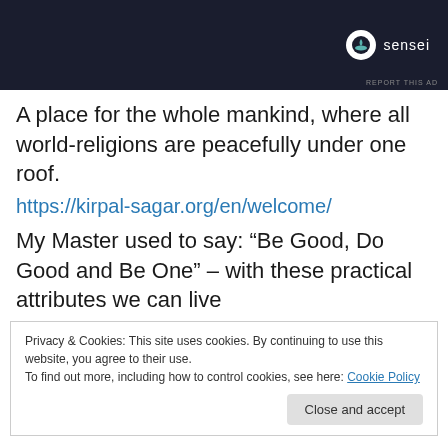[Figure (screenshot): Advertisement banner with dark navy background showing the Sensei logo (tree icon in white circle) and the word 'sensei' in white text, with 'REPORT THIS AD' text at bottom right.]
A place for the whole mankind, where all world-religions are peacefully under one roof.
https://kirpal-sagar.org/en/welcome/
My Master used to say: “Be Good, Do Good and Be One” – with these practical attributes we can live
Privacy & Cookies: This site uses cookies. By continuing to use this website, you agree to their use.
To find out more, including how to control cookies, see here: Cookie Policy
Teachings of Sant Kirpal Singh: